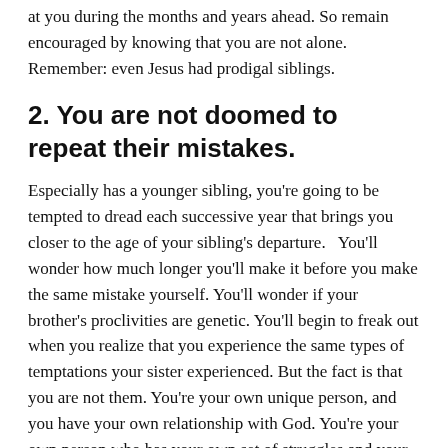at you during the months and years ahead. So remain encouraged by knowing that you are not alone. Remember: even Jesus had prodigal siblings.
2. You are not doomed to repeat their mistakes.
Especially has a younger sibling, you're going to be tempted to dread each successive year that brings you closer to the age of your sibling's departure.   You'll wonder how much longer you'll make it before you make the same mistake yourself. You'll wonder if your brother's proclivities are genetic. You'll begin to freak out when you realize that you experience the same types of temptations your sister experienced. But the fact is that you are not them. You're your own unique person, and you have your own relationship with God. You're your own person who has your own set of struggles and your own difficulties. Don't waste the upcoming months and years